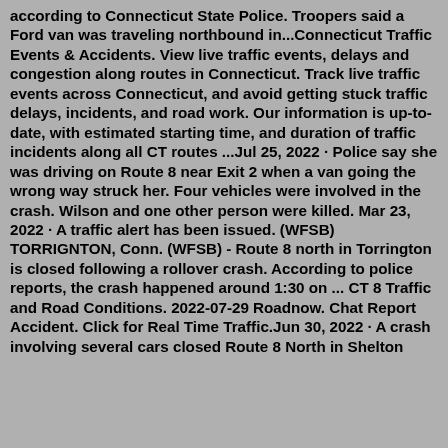according to Connecticut State Police. Troopers said a Ford van was traveling northbound in...Connecticut Traffic Events & Accidents. View live traffic events, delays and congestion along routes in Connecticut. Track live traffic events across Connecticut, and avoid getting stuck traffic delays, incidents, and road work. Our information is up-to-date, with estimated starting time, and duration of traffic incidents along all CT routes ...Jul 25, 2022 · Police say she was driving on Route 8 near Exit 2 when a van going the wrong way struck her. Four vehicles were involved in the crash. Wilson and one other person were killed. Mar 23, 2022 · A traffic alert has been issued. (WFSB) TORRIGNTON, Conn. (WFSB) - Route 8 north in Torrington is closed following a rollover crash. According to police reports, the crash happened around 1:30 on ... CT 8 Traffic and Road Conditions. 2022-07-29 Roadnow. Chat Report Accident. Click for Real Time Traffic.Jun 30, 2022 · A crash involving several cars closed Route 8 North in Shelton Thursday morning. The road closure could be...